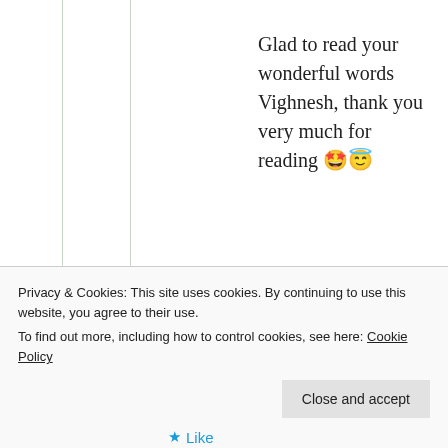Glad to read your wonderful words Vighnesh, thank you very much for reading 🤩😇
★ Liked by 1 person
Log in to Reply
Vignesh S Raj
Privacy & Cookies: This site uses cookies. By continuing to use this website, you agree to their use.
To find out more, including how to control cookies, see here: Cookie Policy
Close and accept
★ Like